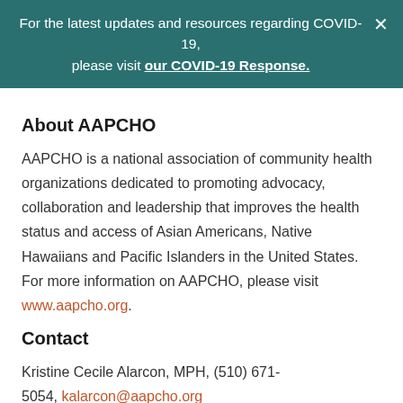For the latest updates and resources regarding COVID-19, please visit our COVID-19 Response.
About AAPCHO
AAPCHO is a national association of community health organizations dedicated to promoting advocacy, collaboration and leadership that improves the health status and access of Asian Americans, Native Hawaiians and Pacific Islanders in the United States. For more information on AAPCHO, please visit www.aapcho.org.
Contact
Kristine Cecile Alarcon, MPH, (510) 671-5054, kalarcon@aapcho.org